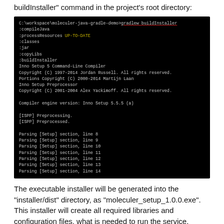buildInstaller" command in the project's root directory:
[Figure (screenshot): Terminal/command-line window showing execution of 'gradlew buildInstaller' command with Gradle build output including compileJava, processResources UP-TO-DATE, classes, jar, copyLibs, buildInstaller tasks, Inno Setup 5 Command-Line Compiler copyright notices, preprocessor messages, and parsing [Setup] section lines 8-14.]
The executable installer will be generated into the “installer/dist” directory, as “moleculer_setup_1.0.0.exe”. This installer will create all required libraries and configuration files, what is needed to run the service.